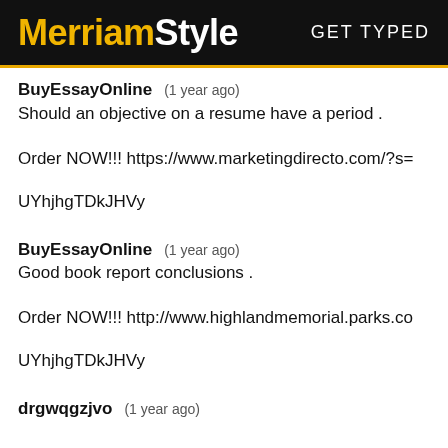MerriamStyle  GET TYPED
BuyEssayOnline   (1 year ago)
Should an objective on a resume have a period .
Order NOW!!! https://www.marketingdirecto.com/?s=
UYhjhgTDkJHVy
BuyEssayOnline   (1 year ago)
Good book report conclusions .
Order NOW!!! http://www.highlandmemorial.parks.co
UYhjhgTDkJHVy
drgwqgzjvo   (1 year ago)